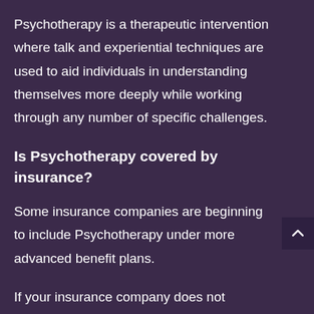Psychotherapy is a therapeutic intervention where talk and experiential techniques are used to aid individuals in understanding themselves more deeply while working through any number of specific challenges.
Is Psychotherapy covered by insurance?
Some insurance companies are beginning to include Psychotherapy under more advanced benefit plans.
If your insurance company does not currently cover psychotherapy, please visit